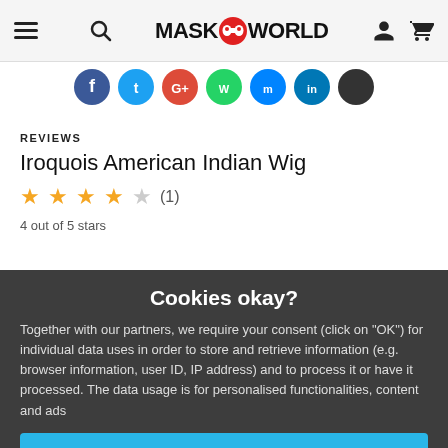MASKWORLD navigation bar with hamburger, search, logo, person and cart icons
[Figure (screenshot): Row of social media sharing circles (Facebook, Twitter, Google+, WhatsApp, Messenger, LinkedIn, and another dark circle)]
REVIEWS
Iroquois American Indian Wig
4 out of 5 stars (1)
Cookies okay?
Together with our partners, we require your consent (click on "OK") for individual data uses in order to store and retrieve information (e.g. browser information, user ID, IP address) and to process it or have it processed. The data usage is for personalised functionalities, content and ads
OK